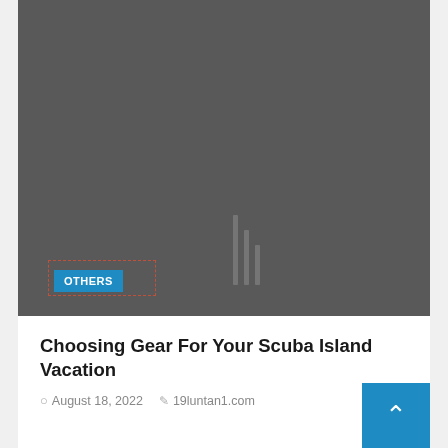[Figure (photo): Dark gray card image area with vertical line decorations and an 'OTHERS' badge in the bottom-left corner]
Choosing Gear For Your Scuba Island Vacation
August 18, 2022   19luntan1.com
[Figure (other): Dark gray card image area at the bottom of the page with a blue back-to-top arrow button in the bottom-right corner]